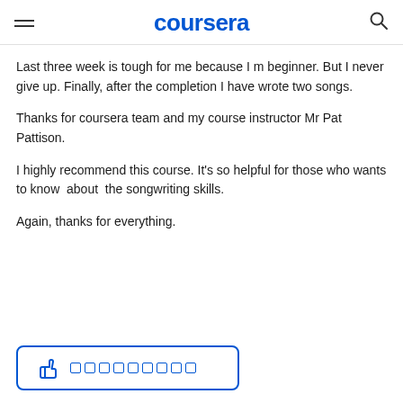coursera
Last three week is tough for me because I m beginner. But I never give up. Finally, after the completion I have wrote two songs.

Thanks for coursera team and my course instructor Mr Pat Pattison.

I highly recommend this course. It's so helpful for those who wants to know  about  the songwriting skills.

Again, thanks for everything.
[Figure (other): Thumbs up button with blue border and dotted rating icons]